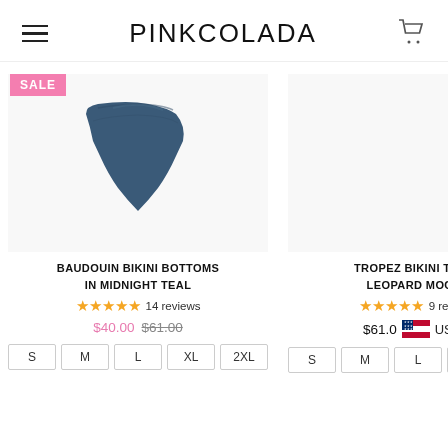PINKCOLADA
[Figure (photo): BAUDOUIN BIKINI BOTTOMS IN MIDNIGHT TEAL - dark teal/navy colored bikini bottom swimwear item]
SALE
BAUDOUIN BIKINI BOTTOMS IN MIDNIGHT TEAL
★★★★★ 14 reviews
$40.00  $61.00
S  M  L  XL  2XL
[Figure (photo): TROPEZ BIKINI TOP IN LEOPARD MOCHA - right side product image area (appears blank/loading)]
TROPEZ BIKINI TOP IN LEOPARD MOCHA
★★★★★ 9 reviews
$61.0  USD
S  M  L  XL  2XL